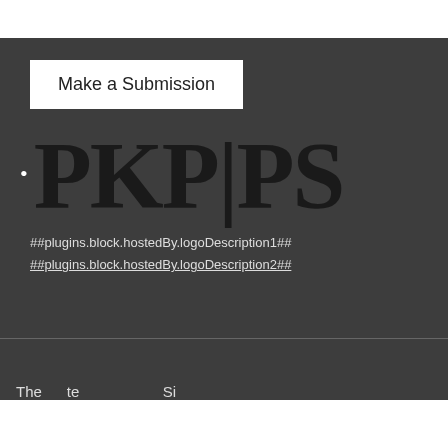Make a Submission
[Figure (logo): PKP|PS logo — large serif black text on dark grey background with a bullet point to the left]
##plugins.block.hostedBy.logoDescription1##
##plugins.block.hostedBy.logoDescription2##
The text at the bottom is partially cut off